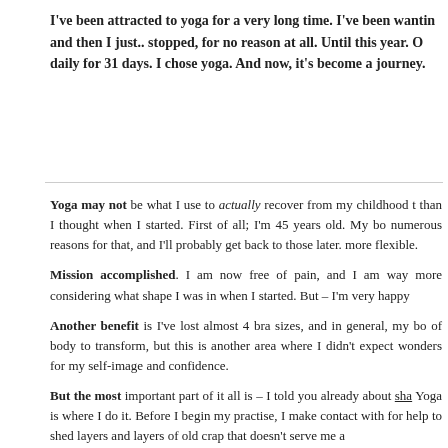I've been attracted to yoga for a very long time. I've been wanting and then I just.. stopped, for no reason at all. Until this year. O daily for 31 days. I chose yoga. And now, it's become a journey.
Yoga may not be what I use to actually recover from my childhood t than I thought when I started. First of all; I'm 45 years old. My bo numerous reasons for that, and I'll probably get back to those later. more flexible.
Mission accomplished. I am now free of pain, and I am way more considering what shape I was in when I started. But – I'm very happy
Another benefit is I've lost almost 4 bra sizes, and in general, my bo of body to transform, but this is another area where I didn't expect wonders for my self-image and confidence.
But the most important part of it all is – I told you already about sha Yoga is where I do it. Before I begin my practise, I make contact with for help to shed layers and layers of old crap that doesn't serve me a